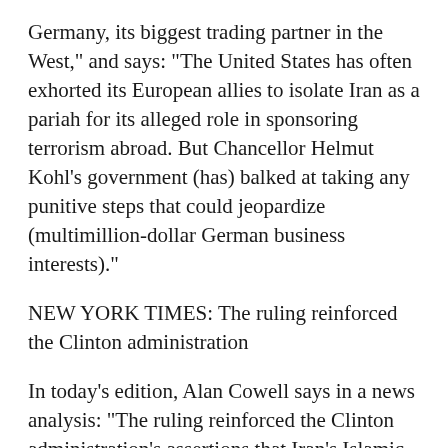Germany, its biggest trading partner in the West," and says: "The United States has often exhorted its European allies to isolate Iran as a pariah for its alleged role in sponsoring terrorism abroad. But Chancellor Helmut Kohl's government (has) balked at taking any punitive steps that could jeopardize (multimillion-dollar German business interests)."
NEW YORK TIMES: The ruling reinforced the Clinton administration
In today's edition, Alan Cowell says in a news analysis: "The ruling reinforced the Clinton administration's assertions that Iran's Islamic rulers sponsor state terrorism and fueled demands by the United States for Germany and other European allies to end what they call their 'critical dialogue' with Iran and the terrorists flourishing it...